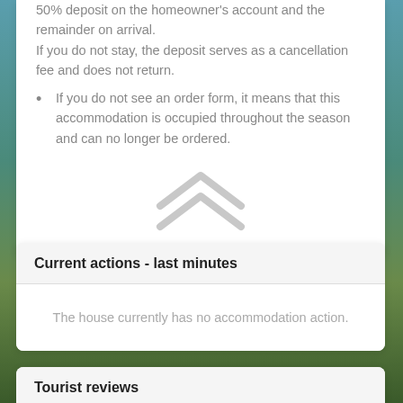50% deposit on the homeowner's account and the remainder on arrival. If you do not stay, the deposit serves as a cancellation fee and does not return.
If you do not see an order form, it means that this accommodation is occupied throughout the season and can no longer be ordered.
[Figure (illustration): Double chevron/up-arrow icon in light gray]
Current actions - last minutes
The house currently has no accommodation action.
Tourist reviews